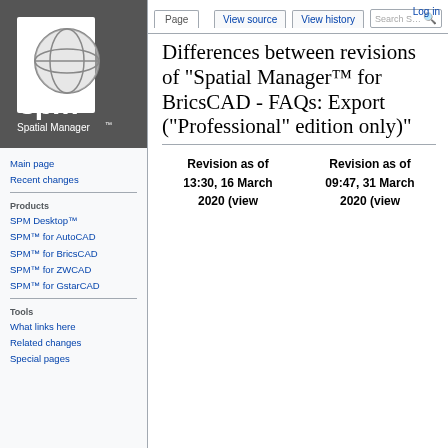[Figure (logo): Spatial Manager SPM logo — dark grey background with 'spm' text and globe icon, 'Spatial Manager' text below]
Main page
Recent changes
Products
SPM Desktop™
SPM™ for AutoCAD
SPM™ for BricsCAD
SPM™ for ZWCAD
SPM™ for GstarCAD
Tools
What links here
Related changes
Special pages
Log in
Differences between revisions of "Spatial Manager™ for BricsCAD - FAQs: Export ("Professional" edition only)"
| Revision as of 13:30, 16 March 2020 (view | Revision as of 09:47, 31 March 2020 (view |
| --- | --- |